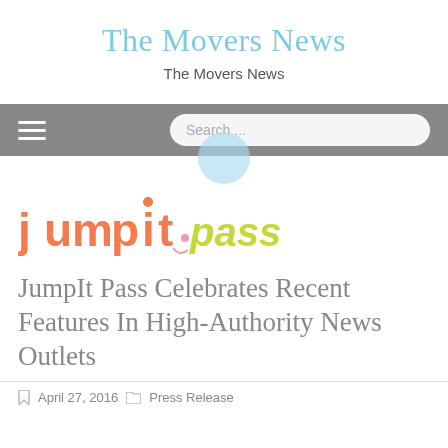The Movers News
The Movers News
[Figure (screenshot): Navigation bar with hamburger menu icon and search input field, with a light blue circle overlap below]
[Figure (logo): JumpIt Pass logo with orange 'jumpit' text and light green italic 'pass' text]
JumpIt Pass Celebrates Recent Features In High-Authority News Outlets
April 27, 2016   Press Release